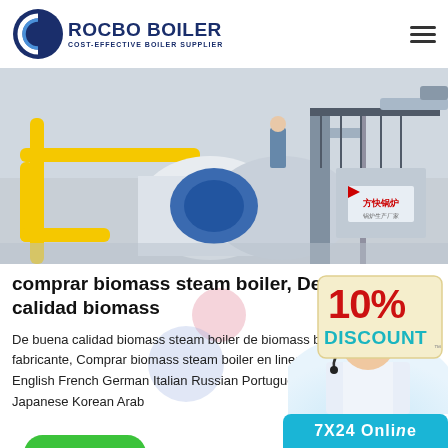[Figure (logo): Rocbo Boiler logo with circular icon and company name and tagline]
[Figure (photo): Industrial boiler plant interior with yellow pipes, white cylindrical equipment, blue machinery, and signage with Chinese characters]
[Figure (infographic): 10% DISCOUNT badge in red and teal text on cream/yellow background]
comprar biomass steam boiler, De buena calidad biomass
De buena calidad biomass steam boiler de biomass boiler fabricante, Comprar biomass steam boiler en linea Spanish. English French German Italian Russian Portuguese Dutch Greek Japanese Korean Arab
[Figure (photo): Customer service representative woman with headset smiling]
Get Price
7X24 Online